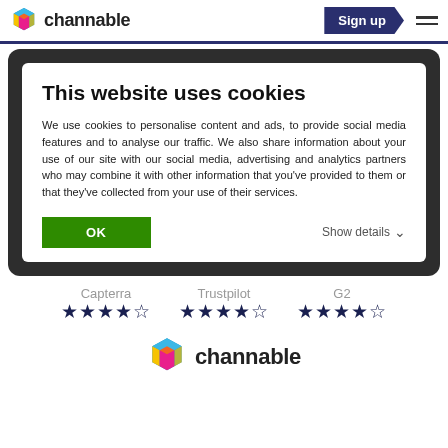channable  Sign up
This website uses cookies
We use cookies to personalise content and ads, to provide social media features and to analyse our traffic. We also share information about your use of our site with our social media, advertising and analytics partners who may combine it with other information that you've provided to them or that they've collected from your use of their services.
OK   Show details
Capterra ★★★★½  Trustpilot ★★★★½  G2 ★★★★½
[Figure (logo): Channable hexagonal logo with blue, cyan, yellow, magenta, and orange colors, with text 'channable']